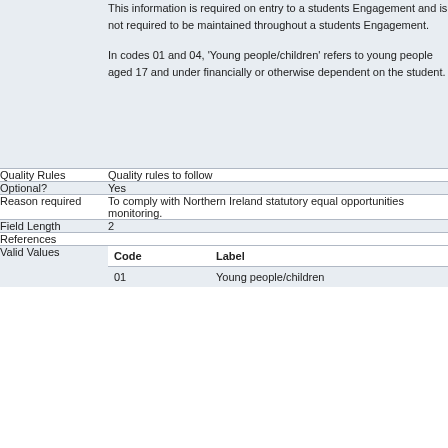This information is required on entry to a students Engagement and is not required to be maintained throughout a students Engagement.
In codes 01 and 04, 'Young people/children' refers to young people aged 17 and under financially or otherwise dependent on the student.
|  |  |
| --- | --- |
| Quality Rules | Quality rules to follow |
| Optional? | Yes |
| Reason required | To comply with Northern Ireland statutory equal opportunities monitoring. |
| Field Length | 2 |
| References |  |
| Valid Values | Code | Label
01 | Young people/children |